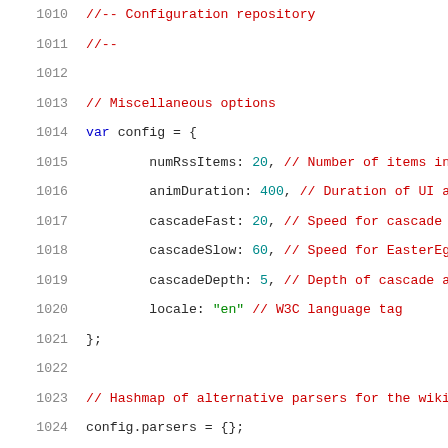1010    //-- Configuration repository
1011    //--
1012
1013    // Miscellaneous options
1014    var config = {
1015            numRssItems: 20, // Number of items in
1016            animDuration: 400, // Duration of UI an
1017            cascadeFast: 20, // Speed for cascade a
1018            cascadeSlow: 60, // Speed for EasterEgg
1019            cascadeDepth: 5, // Depth of cascade an
1020            locale: "en" // W3C language tag
1021    };
1022
1023    // Hashmap of alternative parsers for the wikif
1024    config.parsers = {};
1025
1026    // Adaptors
1027    config.adaptors = {};
1028    config.defaultAdaptor = null;
1029
1030    // Backstage tasks
1031    config.tasks = {};